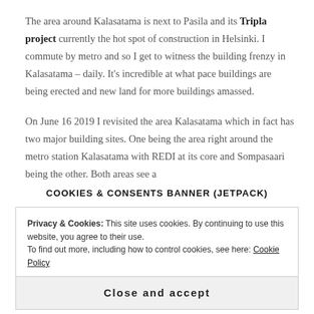The area around Kalasatama is next to Pasila and its Tripla project currently the hot spot of construction in Helsinki. I commute by metro and so I get to witness the building frenzy in Kalasatama – daily. It's incredible at what pace buildings are being erected and new land for more buildings amassed.

On June 16 2019 I revisited the area Kalasatama which in fact has two major building sites. One being the area right around the metro station Kalasatama with REDI at its core and Sompasaari being the other. Both areas see a
COOKIES & CONSENTS BANNER (JETPACK)
Privacy & Cookies: This site uses cookies. By continuing to use this website, you agree to their use.
To find out more, including how to control cookies, see here: Cookie Policy
Close and accept